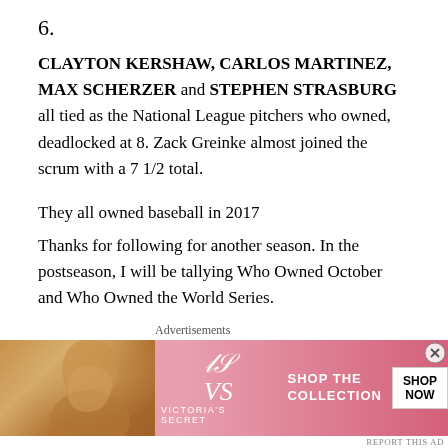6.
CLAYTON KERSHAW, CARLOS MARTINEZ, MAX SCHERZER and STEPHEN STRASBURG all tied as the National League pitchers who owned, deadlocked at 8. Zack Greinke almost joined the scrum with a 7 1/2 total.
They all owned baseball in 2017
Thanks for following for another season. In the postseason, I will be tallying Who Owned October and Who Owned the World Series.
To view the Final Standings for Who Owned Baseb…
[Figure (photo): Victoria's Secret advertisement banner with a model, VS logo, 'Shop the Collection' text, and a white 'Shop Now' button.]